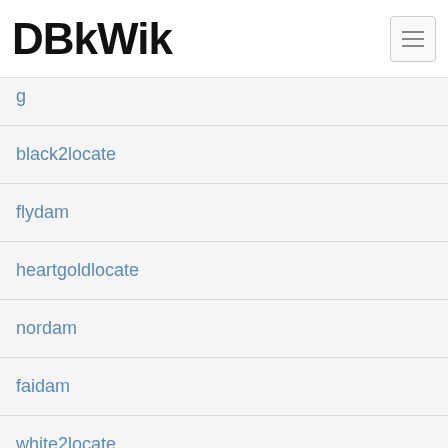DBkWik
g
black2locate
flydam
heartgoldlocate
nordam
faidam
white2locate
rocdam
eledam